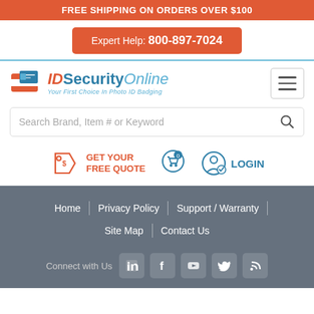FREE SHIPPING ON ORDERS OVER $100
Expert Help: 800-897-7024
[Figure (logo): IDSecurityOnline logo with tagline 'Your First Choice In Photo ID Badging']
Search Brand, Item # or Keyword
GET YOUR FREE QUOTE
LOGIN
Home | Privacy Policy | Support / Warranty | Site Map | Contact Us
Connect with Us